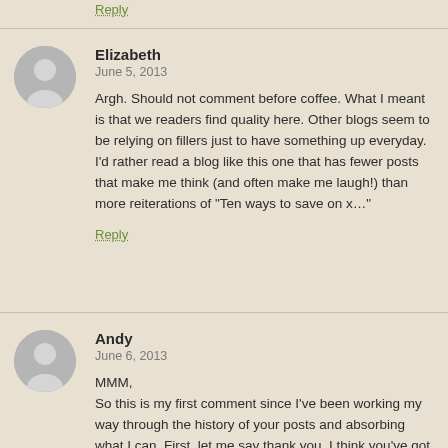Reply
Elizabeth
June 5, 2013

Argh. Should not comment before coffee. What I meant is that we readers find quality here. Other blogs seem to be relying on fillers just to have something up everyday. I'd rather read a blog like this one that has fewer posts that make me think (and often make me laugh!) than more reiterations of "Ten ways to save on x…"
Reply
Andy
June 6, 2013

MMM,
So this is my first comment since I've been working my way through the history of your posts and absorbing what I can. First, let me say thank you. I think you've got some great ideas and everything is done in a very entertaining way that keeps me interested. I